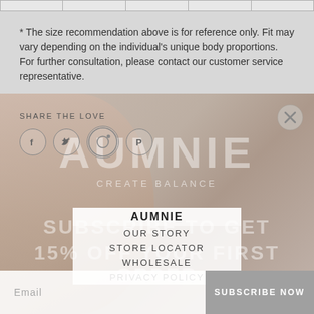|  |   |   |   |   |
* The size recommendation above is for reference only. Fit may vary depending on the individual's unique body proportions. For further consultation, please contact our customer service representative.
[Figure (photo): Background photo of a woman wearing a blue sports bra, faded/translucent overlay]
SHARE THE LOVE
[Figure (illustration): Social media icons: Facebook (f), Twitter (bird), a circular icon, Pinterest (P)]
AUMNIE
CREATE BALANCE
SUBSCRIBE TO GET
15% OFF YOUR FIRST ORDER
AUMNIE
OUR STORY
STORE LOCATOR
WHOLESALE
PRIVACY POLICY
Email
SUBSCRIBE NOW